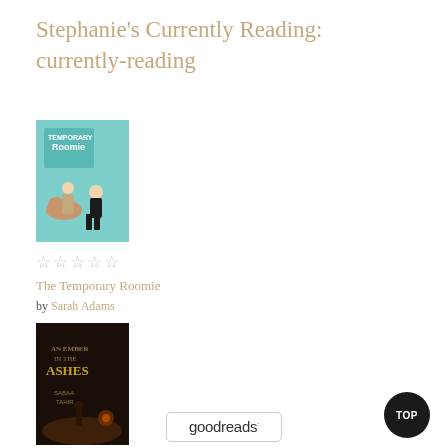Stephanie's Currently Reading: currently-reading
[Figure (illustration): Book cover for 'The Temporary Roomie' — teal/mint background with illustrated figures of a woman with a dog and a man in a suit]
☆☆☆☆☆
The Temporary Roomie
by Sarah Adams
[Figure (illustration): Book cover for 'An Ember in the Ashes' — dark dramatic cover with gold title text and figures]
☆☆☆☆☆
An Ember in the Ashes
by Sabaa Tahir
[Figure (logo): Goodreads logo in a rounded rectangle border at the bottom of the page]